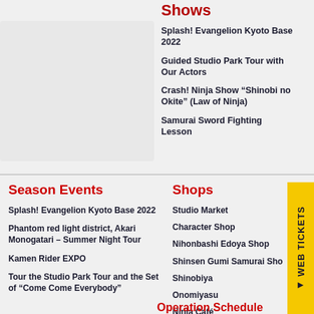Shows
Splash! Evangelion Kyoto Base 2022
Guided Studio Park Tour with Our Actors
Crash! Ninja Show “Shinobi no Okite” (Law of Ninja)
Samurai Sword Fighting Lesson
Season Events
Splash! Evangelion Kyoto Base 2022
Phantom red light district, Akari Monogatari – Summer Night Tour
Kamen Rider EXPO
Tour the Studio Park Tour and the Set of “Come Come Everybody”
Shops
Studio Market
Character Shop
Nihonbashi Edoya Shop
Shinsen Gumi Samurai Shop
Shinobiya
Onomiyasu
Ninja Café
Operation Schedule